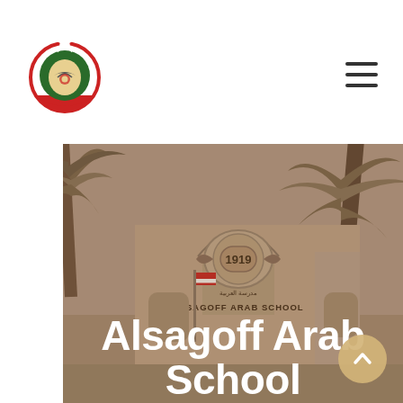[Figure (logo): Alsagoff Arab School circular logo with star emblem, crescent, and school crest in red and green colors]
[Figure (photo): Sepia-toned photograph of Alsagoff Arab School building facade with palm trees. The building shows the year 1919 and signage reading 'ALSAGOFF ARAB SCHOOL' with Arabic text above. A flag is visible near the entrance.]
Alsagoff Arab School